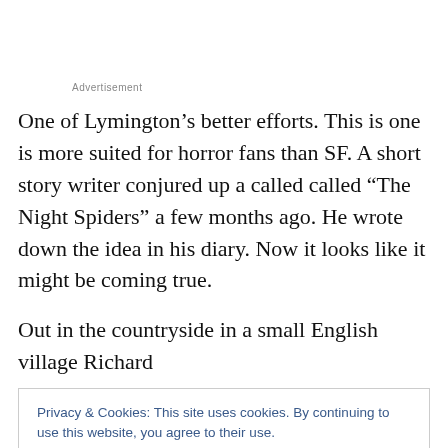Advertisement
One of Lymington’s better efforts. This is one is more suited for horror fans than SF. A short story writer conjured up a called called “The Night Spiders” a few months ago. He wrote down the idea in his diary. Now it looks like it might be coming true.
Out in the countryside in a small English village Richard
Privacy & Cookies: This site uses cookies. By continuing to use this website, you agree to their use.
To find out more, including how to control cookies, see here: Cookie Policy
night